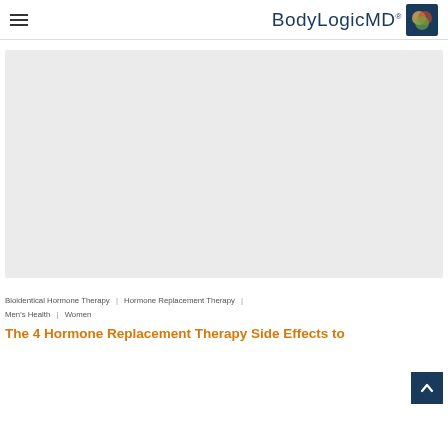BodyLogicMD
[Figure (photo): Large light gray placeholder image area representing a featured article image]
Bioidentical Hormone Therapy | Hormone Replacement Therapy | Men's Health | Women
The 4 Hormone Replacement Therapy Side Effects to